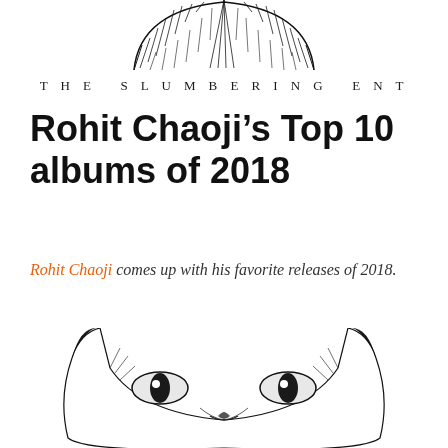[Figure (illustration): Top portion of a stylized black-and-white illustration of a cat face, showing the top of the head with fur/whisker details, cropped at the top of the page]
THE SLUMBERING ENT
Rohit Chaoji’s Top 10 albums of 2018
Rohit Chaoji comes up with his favorite releases of 2018.
[Figure (illustration): Bottom portion of a stylized black-and-white illustration of a cat face, showing the eyes and lower head area, cropped at the bottom of the page]